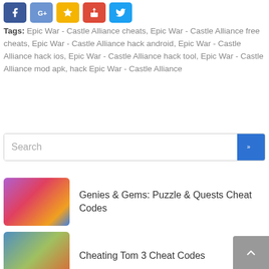[Figure (other): Social sharing icon buttons: Facebook (blue), Google+ (light blue), Bookmark/star (yellow), Google Play (red/orange), Twitter (cyan)]
Tags: Epic War - Castle Alliance cheats, Epic War - Castle Alliance free cheats, Epic War - Castle Alliance hack android, Epic War - Castle Alliance hack ios, Epic War - Castle Alliance hack tool, Epic War - Castle Alliance mod apk, hack Epic War - Castle Alliance
[Figure (other): Search input box with blue search button showing double chevron (»)]
[Figure (screenshot): Thumbnail for Genies & Gems: Puzzle & Quests Cheat Codes — colorful gem puzzle game screenshot]
Genies & Gems: Puzzle & Quests Cheat Codes
[Figure (screenshot): Thumbnail for Cheating Tom 3 Cheat Codes — cartoon child game screenshot]
Cheating Tom 3 Cheat Codes
[Figure (screenshot): Thumbnail for Dreamy Fashion Doll – Party Dress Up & Fashion Make Up Games Cheat Codes — fashion doll game screenshot]
Dreamy Fashion Doll – Party Dress Up & Fashion Make Up Games Cheat Codes